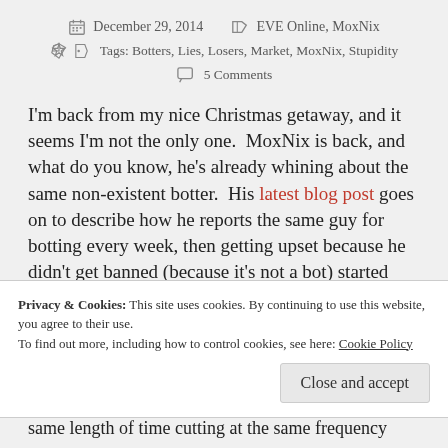December 29, 2014  EVE Online, MoxNix
Tags: Botters, Lies, Losers, Market, MoxNix, Stupidity
5 Comments
I'm back from my nice Christmas getaway, and it seems I'm not the only one.  MoxNix is back, and what do you know, he's already whining about the same non-existent botter.  His latest blog post goes on to describe how he reports the same guy for botting every week, then getting upset because he didn't get banned (because it's not a bot) started reporting him once per
Privacy & Cookies: This site uses cookies. By continuing to use this website, you agree to their use.
To find out more, including how to control cookies, see here: Cookie Policy
same length of time cutting at the same frequency